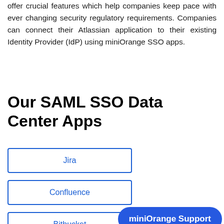offer crucial features which help companies keep pace with ever changing security regulatory requirements. Companies can connect their Atlassian application to their existing Identity Provider (IdP) using miniOrange SSO apps.
Our SAML SSO Data Center Apps
Jira
Confluence
Bitbucket
miniOrange Support